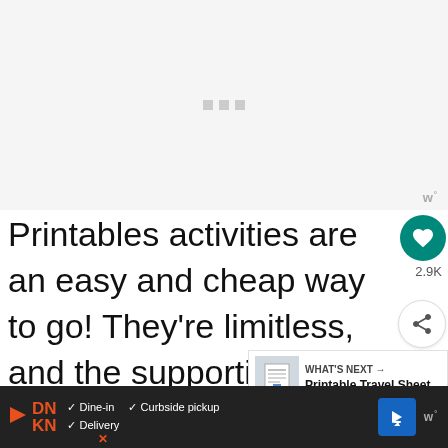[Figure (other): Loading/placeholder area with three small grey squares indicating an image or video loading state]
Printables activities are an easy and cheap way to go! They're limitless, and the supporting supplies are negligible. Plus, you can abandon them at destination, and then re-print at home
[Figure (other): What's Next card showing Printable Travel Sheet thumbnail with navigation arrow]
[Figure (other): Bottom advertisement bar for Dunkin showing Dine-in, Curbside pickup, and Delivery options with navigation icon]